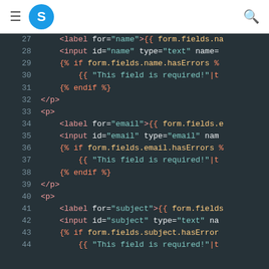S [logo] [hamburger] [search]
[Figure (screenshot): Code editor screenshot showing Django/Jinja2 template HTML lines 27-44 with syntax highlighting on dark background (#263238). Lines show form fields for name, email, and subject with label, input, and error handling tags.]